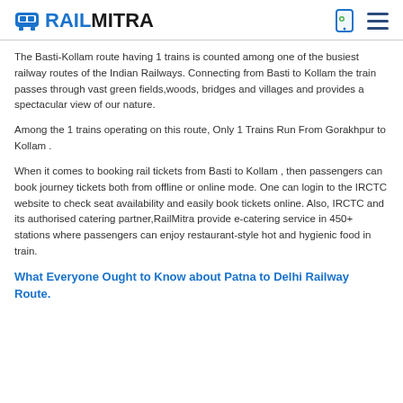RAILMITRA
The Basti-Kollam route having 1 trains is counted among one of the busiest railway routes of the Indian Railways. Connecting from Basti to Kollam the train passes through vast green fields,woods, bridges and villages and provides a spectacular view of our nature.
Among the 1 trains operating on this route, Only 1 Trains Run From Gorakhpur to Kollam .
When it comes to booking rail tickets from Basti to Kollam , then passengers can book journey tickets both from offline or online mode. One can login to the IRCTC website to check seat availability and easily book tickets online. Also, IRCTC and its authorised catering partner,RailMitra provide e-catering service in 450+ stations where passengers can enjoy restaurant-style hot and hygienic food in train.
What Everyone Ought to Know about Patna to Delhi Railway Route.